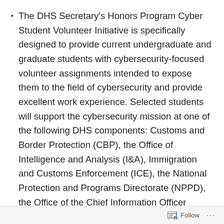The DHS Secretary's Honors Program Cyber Student Volunteer Initiative is specifically designed to provide current undergraduate and graduate students with cybersecurity-focused volunteer assignments intended to expose them to the field of cybersecurity and provide excellent work experience. Selected students will support the cybersecurity mission at one of the following DHS components: Customs and Border Protection (CBP), the Office of Intelligence and Analysis (I&A), Immigration and Customs Enforcement (ICE), the National Protection and Programs Directorate (NPPD), the Office of the Chief Information Officer (OCIO), the Transportation Security Administration (TSA), or the United States Coast
Follow ···